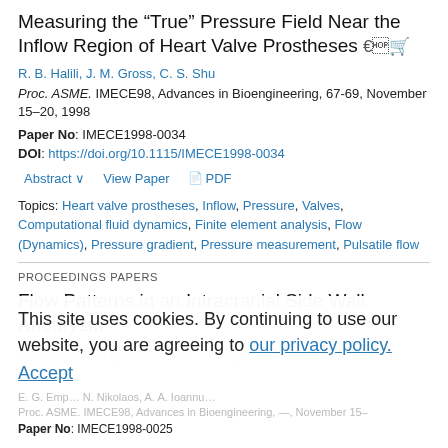Measuring the “True” Pressure Field Near the Inflow Region of Heart Valve Prostheses
R. B. Halili, J. M. Gross, C. S. Shu
Proc. ASME. IMECE98, Advances in Bioengineering, 67-69, November 15–20, 1998
Paper No: IMECE1998-0034
DOI: https://doi.org/10.1115/IMECE1998-0034
Abstract  View Paper  PDF
Topics: Heart valve prostheses, Inflow, Pressure, Valves, Computational fluid dynamics, Finite element analysis, Flow (Dynamics), Pressure gradient, Pressure measurement, Pulsatile flow
PROCEEDINGS PAPERS
Flow Patterns in an Intracranial Side Wall Aneurysm Model Using Particle Image Velocimetry
This site uses cookies. By continuing to use our website, you are agreeing to our privacy policy. Accept
Paper No: IMECE1998-0025